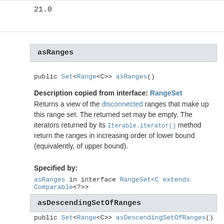21.0
asRanges
public Set<Range<C>> asRanges()
Description copied from interface: RangeSet
Returns a view of the disconnected ranges that make up this range set. The returned set may be empty. The iterators returned by its Iterable.iterator() method return the ranges in increasing order of lower bound (equivalently, of upper bound).
Specified by:
asRanges in interface RangeSet<C extends Comparable<?>>
asDescendingSetOfRanges
public Set<Range<C>> asDescendingSetOfRanges()